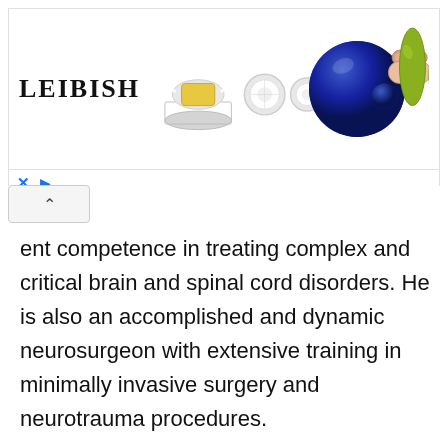[Figure (other): Advertisement banner for Leibish jewelry featuring logo and various gemstone/jewelry images including rings, earrings, blue sapphire, and other gems]
ent competence in treating complex and critical brain and spinal cord disorders. He is also an accomplished and dynamic neurosurgeon with extensive training in minimally invasive surgery and neurotrauma procedures.